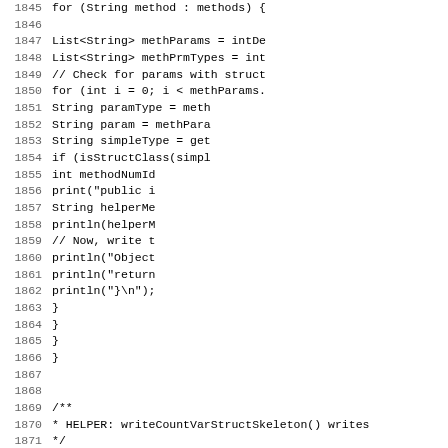Source code listing, lines 1845-1876+, showing Java method implementations including writeCountVarStructSkeleton